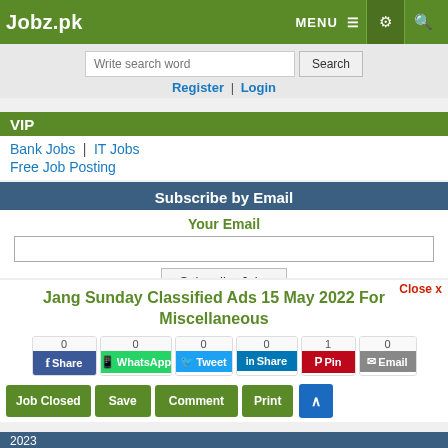Jobz.pk  MENU  [settings] [search]
Write search word  Search
Register | Login
VIP
Bank Jobs | IT Jobs
Free Job Posting
Subscribe by Email
Your Email
Subscribe Jobs
Subscribe by Email
Jobs Whatsapp Group Links
Jang Sunday Classified Ads 15 May 2022 For Miscellaneous
Close x
0 Share  0 WhatsApp  0 Tweet  0 Share  1 Pin  0 Email
Job Closed  Save  Comment  Print  ^
2023